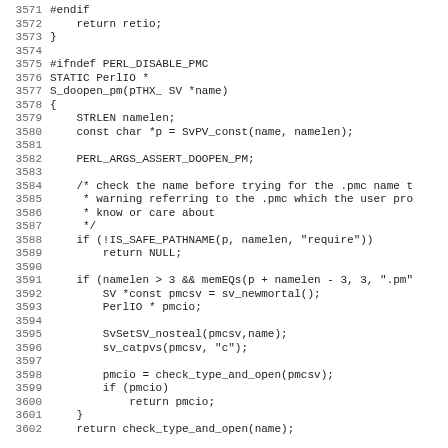3571 #endif
3572     return retio;
3573 }
3574 
3575 #ifndef PERL_DISABLE_PMC
3576 STATIC PerlIO *
3577 S_doopen_pm(pTHX_ SV *name)
3578 {
3579     STRLEN namelen;
3580     const char *p = SvPV_const(name, namelen);
3581 
3582     PERL_ARGS_ASSERT_DOOPEN_PM;
3583 
3584     /* check the name before trying for the .pmc name t
3585      * warning referring to the .pmc which the user pro
3586      * know or care about
3587      */
3588     if (!IS_SAFE_PATHNAME(p, namelen, "require"))
3589         return NULL;
3590 
3591     if (namelen > 3 && memEQs(p + namelen - 3, 3, ".pm"
3592         SV *const pmcsv = sv_newmortal();
3593         PerlIO * pmcio;
3594 
3595         SvSetSV_nosteal(pmcsv,name);
3596         sv_catpvs(pmcsv, "c");
3597 
3598         pmcio = check_type_and_open(pmcsv);
3599         if (pmcio)
3600             return pmcio;
3601     }
3602     return check_type_and_open(name);